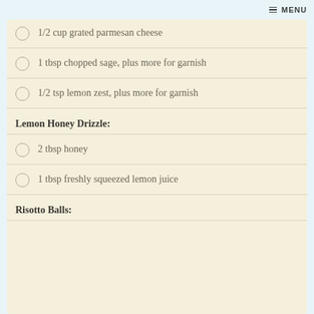MENU
1/2 cup grated parmesan cheese
1 tbsp chopped sage, plus more for garnish
1/2 tsp lemon zest, plus more for garnish
Lemon Honey Drizzle:
2 tbsp honey
1 tbsp freshly squeezed lemon juice
Risotto Balls: